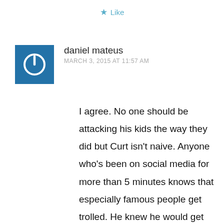Like
[Figure (illustration): Blue square avatar with a white power button symbol (circle with a line at top)]
daniel mateus
MARCH 3, 2015 AT 11:57 AM
I agree. No one should be attacking his kids the way they did but Curt isn't naive. Anyone who's been on social media for more than 5 minutes knows that especially famous people get trolled. He knew he would get trolled and then he ran with it to P&C to